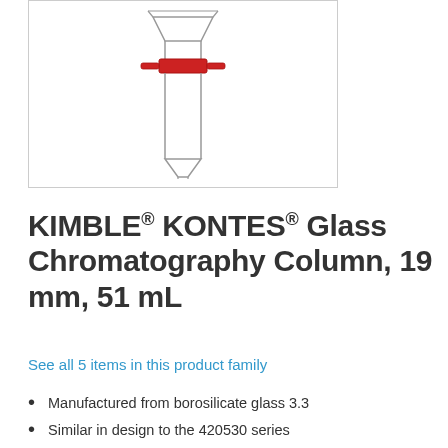[Figure (photo): Product photo of a KIMBLE KONTES Glass Chromatography Column with red stopcock valve, shown against white background inside a bordered box]
KIMBLE® KONTES® Glass Chromatography Column, 19 mm, 51 mL
See all 5 items in this product family
Manufactured from borosilicate glass 3.3
Similar in design to the 420530 series
40-60 micron porosity glass frit at the lower end to